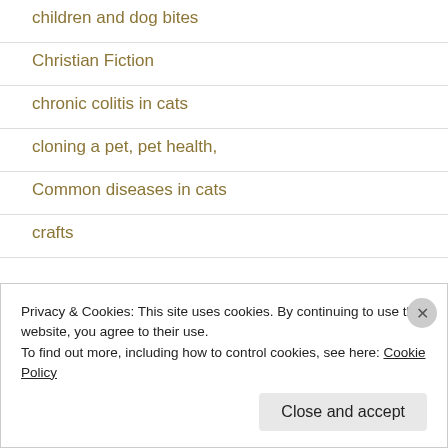children and dog bites
Christian Fiction
chronic colitis in cats
cloning a pet, pet health,
Common diseases in cats
crafts
Privacy & Cookies: This site uses cookies. By continuing to use this website, you agree to their use.
To find out more, including how to control cookies, see here: Cookie Policy
Close and accept